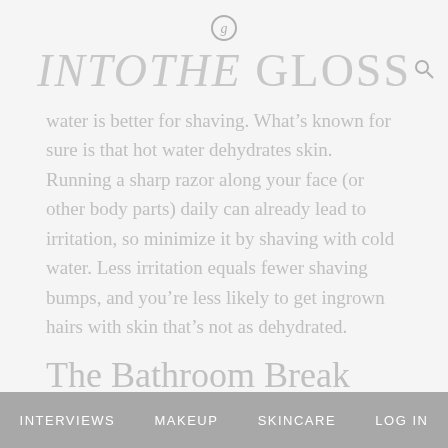INTO THE GLOSS
water is better for shaving. What’s known for sure is that hot water dehydrates skin. Running a sharp razor along your face (or other body parts) daily can already lead to irritation, so minimize it by shaving with cold water. Less irritation equals fewer shaving bumps, and you’re less likely to get ingrown hairs with skin that’s not as dehydrated.
The Bathroom Break Blotter
What’s in a blotting paper? A blotting paper by any other name would blot as well. Case in point: The
INTERVIEWS   MAKEUP   SKINCARE   LOG IN